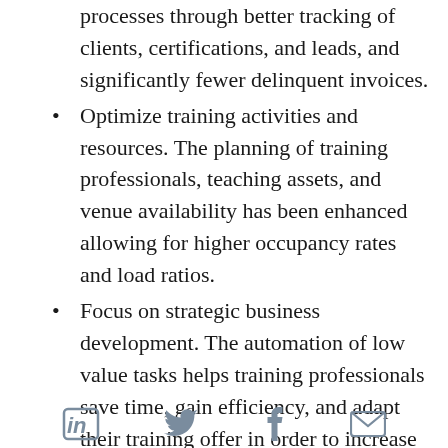processes through better tracking of clients, certifications, and leads, and significantly fewer delinquent invoices.
Optimize training activities and resources. The planning of training professionals, teaching assets, and venue availability has been enhanced allowing for higher occupancy rates and load ratios.
Focus on strategic business development. The automation of low value tasks helps training professionals save time, gain efficiency, and adapt their training offer in order to increase customer acquisition and loyalty.
Improve communication and increase satisfaction. Training Orchestra enables direct access to dedicated features for all training participants.
[LinkedIn] [Twitter] [Facebook] [Email]